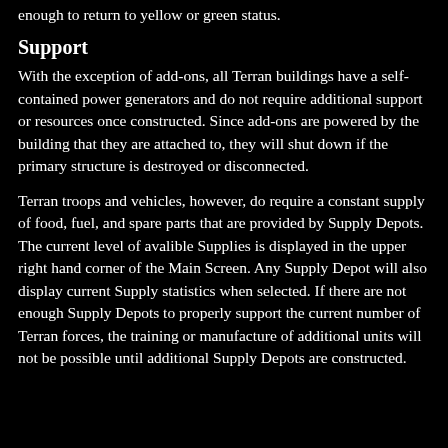enough to return to yellow or green status.
Support
With the exception of add-ons, all Terran buildings have a self-contained power generators and do not require additional support or resources once constructed. Since add-ons are powered by the building that they are attached to, they will shut down if the primary structure is destroyed or disconnected.
Terran troops and vehicles, however, do require a constant supply of food, fuel, and spare parts that are provided by Supply Depots. The current level of avalible Supplies is displayed in the upper right hand corner of the Main Screen. Any Supply Depot will also display current Supply statistics when selected. If there are not enough Supply Depots to properly support the current number of Terran forces, the training or manufacture of additional units will not be possible until additional Supply Depots are constructed.